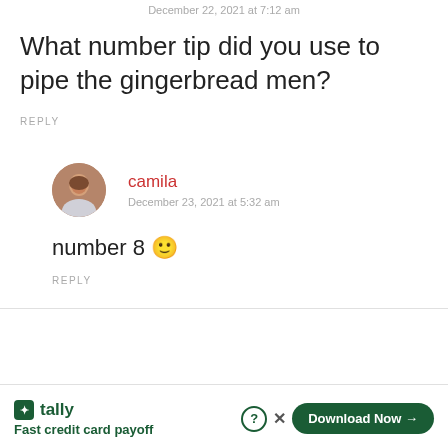December 22, 2021 at 7:12 am
What number tip did you use to pipe the gingerbread men?
REPLY
camila
December 23, 2021 at 5:32 am
number 8 🙂
REPLY
tally Fast credit card payoff Download Now →